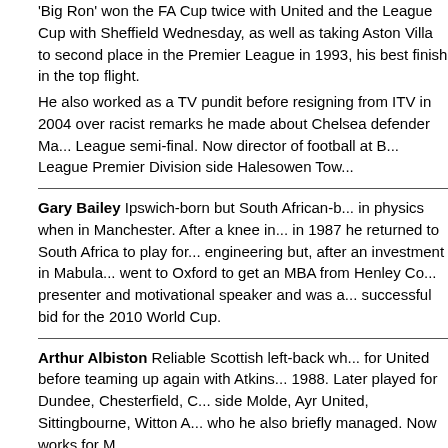'Big Ron' won the FA Cup twice with United and the League Cup with Sheffield Wednesday, as well as taking Aston Villa to second place in the Premier League in 1993, his best finish in the top flight. He also worked as a TV pundit before resigning from ITV in 2004 over racist remarks he made about Chelsea defender Ma... League semi-final. Now director of football at B... League Premier Division side Halesowen Tow...
Gary Bailey Ipswich-born but South African-b... in physics when in Manchester. After a knee in... in 1987 he returned to South Africa to play for... engineering but, after an investment in Mabula... went to Oxford to get an MBA from Henley Co... presenter and motivational speaker and was a... successful bid for the 2010 World Cup.
Arthur Albiston Reliable Scottish left-back wh... for United before teaming up again with Atkins... 1988. Later played for Dundee, Chesterfield, C... side Molde, Ayr United, Sittingbourne, Witton A... who he also briefly managed. Now works for M...